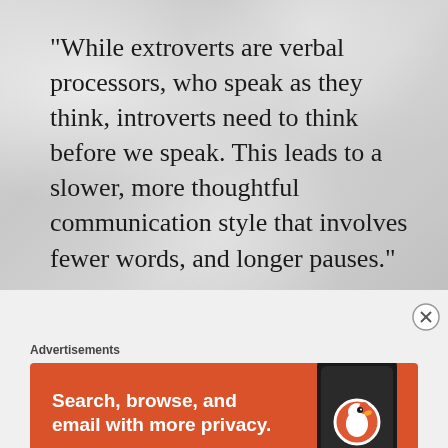[Figure (illustration): Quote card with crumpled paper background texture. Large serif text reads: "While extroverts are verbal processors, who speak as they think, introverts need to think before we speak. This leads to a slower, more thoughtful communication style that involves fewer words, and longer pauses." Attribution below: Michaela Chung | The Irresistible Introvert]
Advertisements
[Figure (screenshot): DuckDuckGo advertisement banner on orange background. Text: 'Search, browse, and email with more privacy. All in One Free App'. Shows a smartphone with DuckDuckGo logo and branding.]